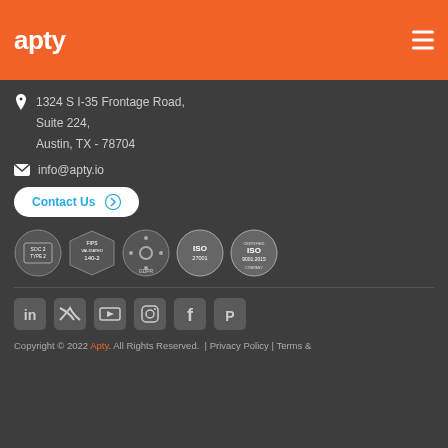[Figure (logo): Apty logo in white text on orange header bar with hamburger menu icon]
1324 S I-35 Frontage Road, Suite 224, Austin, TX - 78704
info@apty.io
Contact Us
[Figure (other): Security certification badges: SOC 2 TYPE 2, FIPS VALIDATED 140-2, GDPR, ISO 27001, ISO 9001:2015]
[Figure (other): Social media icons: LinkedIn, Twitter, YouTube, Instagram, Facebook, Pinterest]
Copyright © 2022 Apty. All Rights Reserved. | Privacy Policy | Terms &